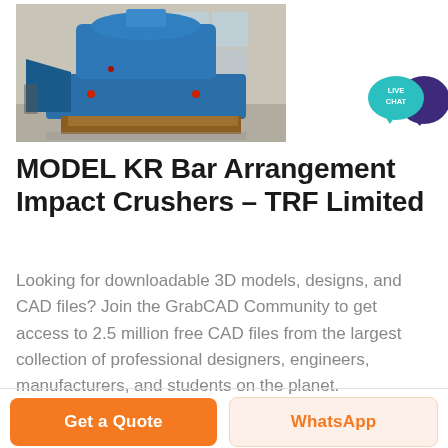[Figure (photo): Industrial blue impact crusher machine photographed in a factory/warehouse setting]
[Figure (other): Live Chat speech bubble badge icon in teal/purple]
MODEL KR Bar Arrangement Impact Crushers – TRF Limited
Looking for downloadable 3D models, designs, and CAD files? Join the GrabCAD Community to get access to 2.5 million free CAD files from the largest collection of professional designers, engineers, manufacturers, and students on the planet.
Get a Quote
WhatsApp